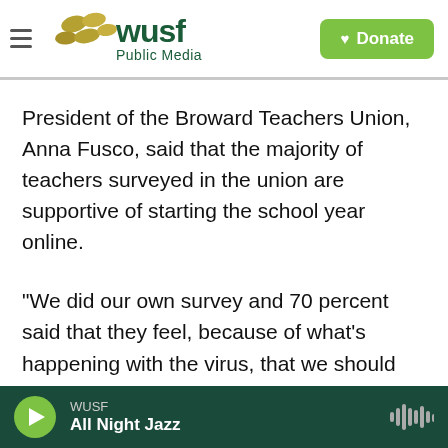WUSF Public Media | Donate
President of the Broward Teachers Union, Anna Fusco, said that the majority of teachers surveyed in the union are supportive of starting the school year online.
"We did our own survey and 70 percent said that they feel, because of what's happening with the virus, that we should continue online, and are willing to get the extra training to get themselves prepared to do the video conferencing ... the office
WUSF | All Night Jazz